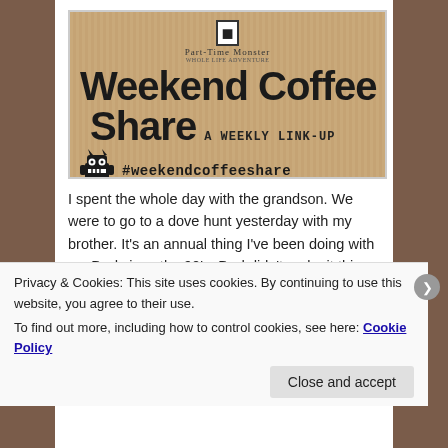[Figure (illustration): Weekend Coffee Share banner image on kraft/cardboard textured background. Shows 'Part-Time Monster' logo at top, large bold text 'Weekend Coffee Share', 'A WEEKLY LINK-UP' in typewriter font, a cartoon monster character, and '#weekendcoffeeshare' hashtag.]
I spent the whole day with the grandson. We were to go to a dove hunt yesterday with my brother. It's an annual thing I've been doing with my Dad since the 90's. Dad didn't make it this year because he was in Florida. The three of
Privacy & Cookies: This site uses cookies. By continuing to use this website, you agree to their use.
To find out more, including how to control cookies, see here: Cookie Policy